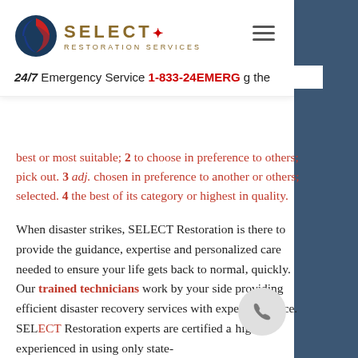[Figure (logo): SELECT Restoration Services logo with circular icon (red and blue shield/circle) and gold/brown lettering]
24/7 Emergency Service 1-833-24EMERG   g the
best or most suitable; 2 to choose in preference to others; pick out. 3 adj. chosen in preference to another or others; selected. 4 the best of its category or highest in quality.
When disaster strikes, SELECT Restoration is there to provide the guidance, expertise and personalized care needed to ensure your life gets back to normal, quickly. Our trained technicians work by your side providing efficient disaster recovery services with expert guidance. SELECT Restoration experts are certified and highly experienced in using only state-of-the-art...